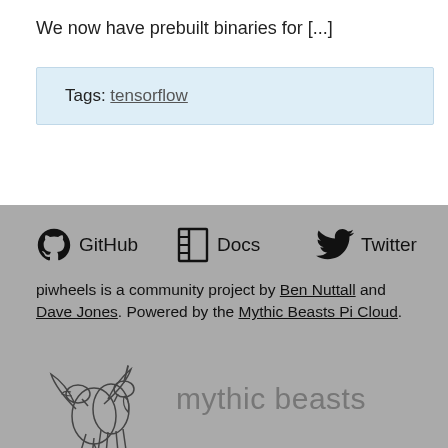We now have prebuilt binaries for [...]
Tags: tensorflow
[Figure (infographic): Footer with GitHub, Docs, Twitter social links as icons with labels]
piwheels is a community project by Ben Nuttall and Dave Jones. Powered by the Mythic Beasts Pi Cloud.
[Figure (logo): Mythic Beasts logo — illustration of a dragon and unicorn with text 'mythic beasts']